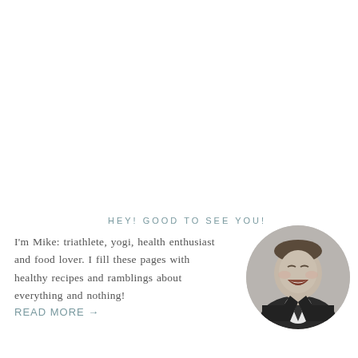HEY! GOOD TO SEE YOU!
I'm Mike: triathlete, yogi, health enthusiast and food lover. I fill these pages with healthy recipes and ramblings about everything and nothing!
READ MORE →
[Figure (photo): Black and white circular portrait photo of a smiling man in a suit and tie]
STAY CONNECTED